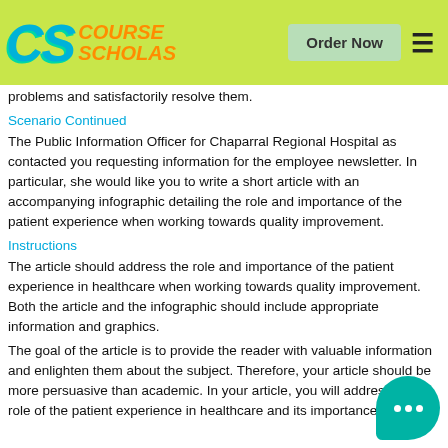Course Scholars — Order Now
problems and satisfactorily resolve them.
Scenario Continued
The Public Information Officer for Chaparral Regional Hospital as contacted you requesting information for the employee newsletter. In particular, she would like you to write a short article with an accompanying infographic detailing the role and importance of the patient experience when working towards quality improvement.
Instructions
The article should address the role and importance of the patient experience in healthcare when working towards quality improvement. Both the article and the infographic should include appropriate information and graphics.
The goal of the article is to provide the reader with valuable information and enlighten them about the subject. Therefore, your article should be more persuasive than academic. In your article, you will address the role of the patient experience in healthcare and its importance.